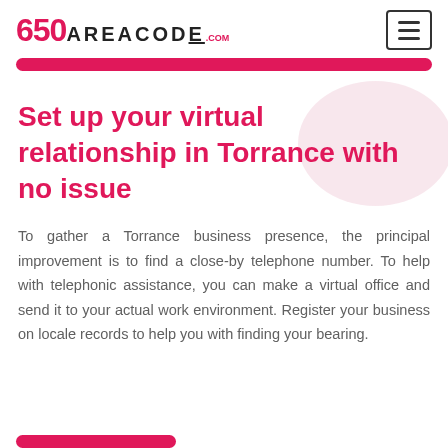650 AREACODE.com
Set up your virtual relationship in Torrance with no issue
To gather a Torrance business presence, the principal improvement is to find a close-by telephone number. To help with telephonic assistance, you can make a virtual office and send it to your actual work environment. Register your business on locale records to help you with finding your bearing.